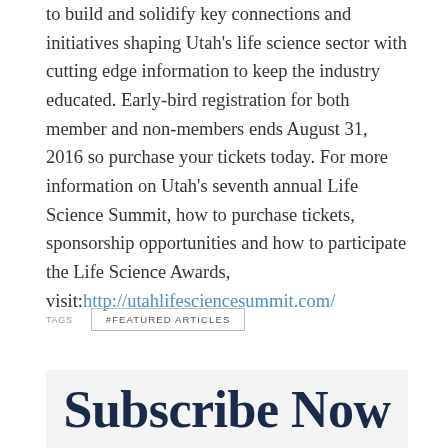to build and solidify key connections and initiatives shaping Utah's life science sector with cutting edge information to keep the industry educated. Early-bird registration for both member and non-members ends August 31, 2016 so purchase your tickets today. For more information on Utah's seventh annual Life Science Summit, how to purchase tickets, sponsorship opportunities and how to participate the Life Science Awards, visit:http://utahlifesciencesummit.com/
TAGS
#FEATURED ARTICLES
Subscribe Now